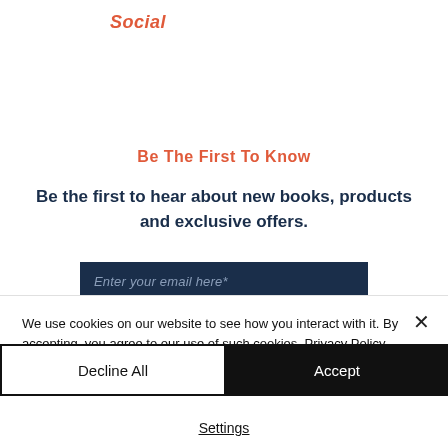Social
Be The First To Know
Be the first to hear about new books, products and exclusive offers.
Enter your email here*
We use cookies on our website to see how you interact with it. By accepting, you agree to our use of such cookies. Privacy Policy
Decline All
Accept
Settings